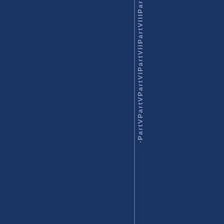[Figure (other): Dark navy blue background with a vertical column of rotated text reading 'PartV PartV PartVI PartVII PartVIII Par...' in light blue/lavender color, with a thin vertical line accent. This appears to be a decorative spine or divider page of a government document showing part labels.]